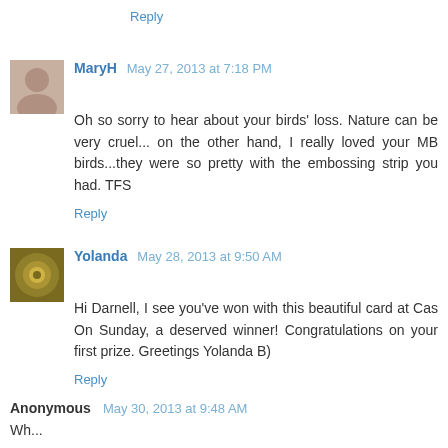Reply
MaryH May 27, 2013 at 7:18 PM
Oh so sorry to hear about your birds' loss. Nature can be very cruel... on the other hand, I really loved your MB birds...they were so pretty with the embossing strip you had. TFS
Reply
Yolanda May 28, 2013 at 9:50 AM
Hi Darnell, I see you've won with this beautiful card at Cas On Sunday, a deserved winner! Congratulations on your first prize. Greetings Yolanda B)
Reply
Anonymous May 30, 2013 at 9:48 AM
Wh...